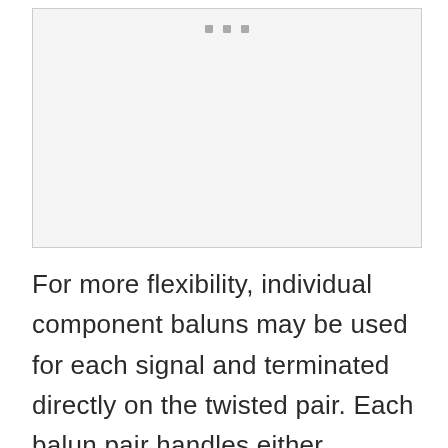[Figure (other): A light gray rectangular figure placeholder with three small gray square dots near the top center, likely representing an embedded diagram or image.]
For more flexibility, individual component baluns may be used for each signal and terminated directly on the twisted pair. Each balun pair handles either Y(Green), Pb (Blue) or Pr ( Red). Three balun pairs are